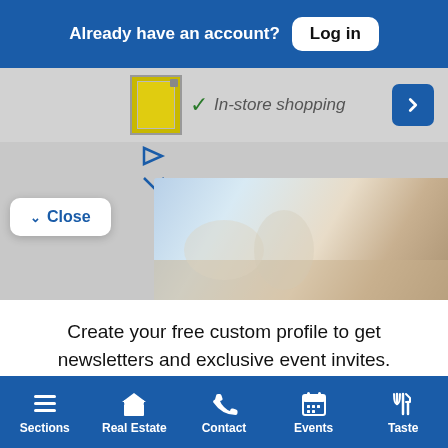Already have an account? Log in
[Figure (screenshot): Screenshot of a shopping interface showing in-store shopping option with a check mark, play/chevron icons, a blue navigation arrow, and a beach photo strip, with a Close button overlay]
Create your free custom profile to get newsletters and exclusive event invites.
Free Newsletters 3
Dan's Daily
Sections  Real Estate  Contact  Events  Taste